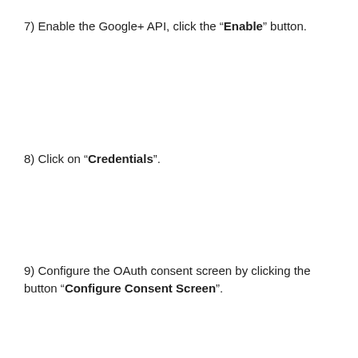7) Enable the Google+ API, click the “Enable” button.
8) Click on “Credentials”.
9) Configure the OAuth consent screen by clicking the button “Configure Consent Screen”.